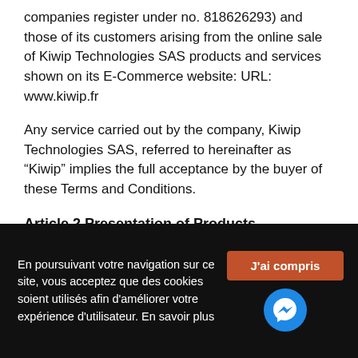companies register under no. 818626293) and those of its customers arising from the online sale of Kiwip Technologies SAS products and services shown on its E-Commerce website: URL: www.kiwip.fr
Any service carried out by the company, Kiwip Technologies SAS, referred to hereinafter as “Kiwip” implies the full acceptance by the buyer of these Terms and Conditions.
Article 2 Presentation of Products
The essential characteristics of the products offered for
En poursuivant votre navigation sur ce site, vous acceptez que des cookies soient utilisés afin d'améliorer votre expérience d'utilisateur. En savoir plus
J'ai compris